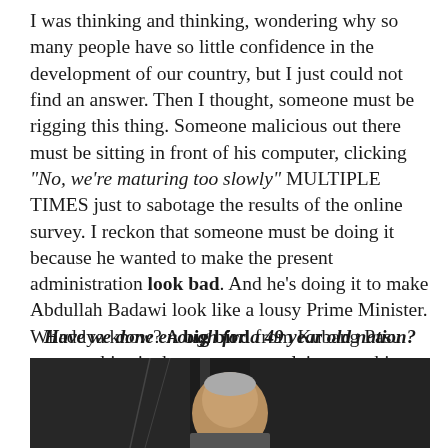I was thinking and thinking, wondering why so many people have so little confidence in the development of our country, but I just could not find an answer. Then I thought, someone must be rigging this thing. Someone malicious out there must be sitting in front of his computer, clicking "No, we're maturing too slowly" MULTIPLE TIMES just to sabotage the results of the online survey. I reckon that someone must be doing it because he wanted to make the present administration look bad. And he's doing it to make Abdullah Badawi look like a lousy Prime Minister. Whaddya know? A big bird from Kubang Pasu sent me this pic that seems to explain everything.
Have we done enough for a 49 year old nation?
[Figure (photo): A photograph of an older man, partially visible from the chest up, against a dark background. A circular blue menu button overlay appears in the bottom right.]